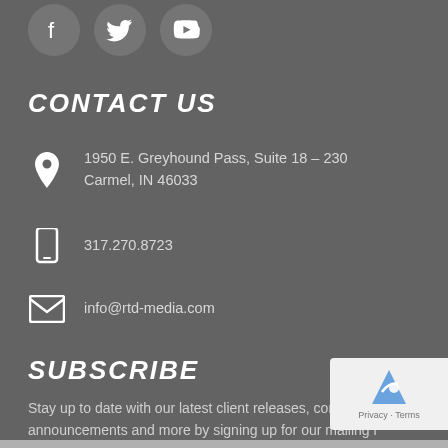[Figure (illustration): Social media icons: Facebook, Twitter, YouTube in dark circles]
CONTACT US
1950 E. Greyhound Pass, Suite 18 – 230
Carmel, IN 46033
317.270.8723
info@rtd-media.com
SUBSCRIBE
Stay up to date with our latest client releases, company announcements and more by signing up for our mailing l…